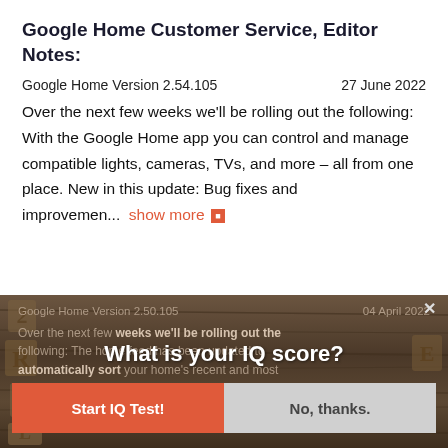Google Home Customer Service, Editor Notes:
Google Home Version 2.54.105
27 June 2022
Over the next few weeks we'll be rolling out the following: With the Google Home app you can control and manage compatible lights, cameras, TVs, and more – all from one place. New in this update: Bug fixes and improvemen...  show more
[Figure (screenshot): Screenshot of a webpage partially obscured by an ad popup modal that says 'What is your IQ score?' with a 'Start IQ Test!' button and 'No, thanks.' button. Behind the modal is another version entry: Google Home Version 2.50.105, 04 April 2022, with text about the home feed being updated to automatically sort your home's recent and most important events to help you better understand what's happening at home.]